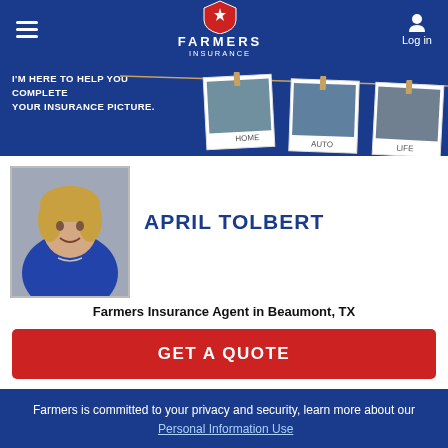Farmers Insurance — Navigation bar with hamburger menu, Farmers Insurance logo, Log in button
[Figure (illustration): Farmers Insurance hero banner — blue background with rope and polaroid photos (HOME, AUTO, LIFE) hanging on clothespins, text: I'M HERE TO HELP YOU COMPLETE YOUR INSURANCE PICTURE.]
[Figure (photo): Headshot of April Tolbert, a woman with blonde highlighted hair wearing a blue top, smiling]
APRIL TOLBERT
Farmers Insurance Agent in Beaumont, TX
GET A QUOTE
Farmers is committed to your privacy and security, learn more about our Personal Information Use
OKAY